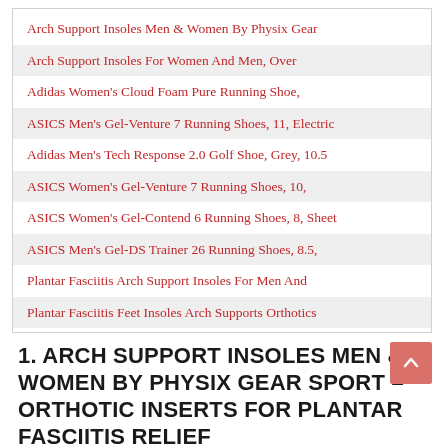Arch Support Insoles Men & Women By Physix Gear
Arch Support Insoles For Women And Men, Over
Adidas Women's Cloud Foam Pure Running Shoe,
ASICS Men's Gel-Venture 7 Running Shoes, 11, Electric
Adidas Men's Tech Response 2.0 Golf Shoe, Grey, 10.5
ASICS Women's Gel-Venture 7 Running Shoes, 10,
ASICS Women's Gel-Contend 6 Running Shoes, 8, Sheet
ASICS Men's Gel-DS Trainer 26 Running Shoes, 8.5,
Plantar Fasciitis Arch Support Insoles For Men And
Plantar Fasciitis Feet Insoles Arch Supports Orthotics
1. ARCH SUPPORT INSOLES MEN & WOMEN BY PHYSIX GEAR SPORT – ORTHOTIC INSERTS FOR PLANTAR FASCIITIS RELIEF